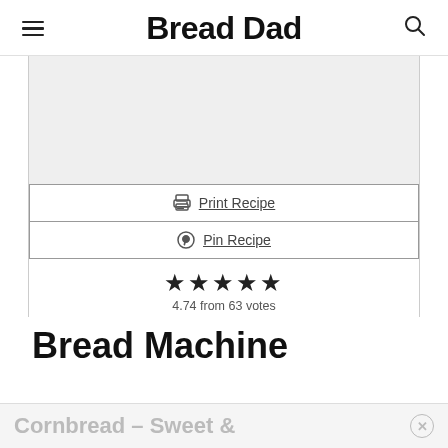Bread Dad
[Figure (other): Gray image placeholder area]
Print Recipe
Pin Recipe
★★★★★ 4.74 from 63 votes
Bread Machine
Cornbread – Sweet &